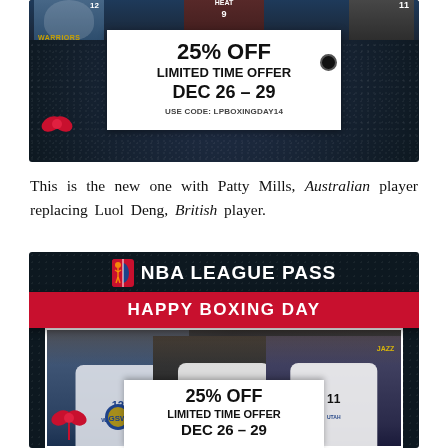[Figure (photo): NBA League Pass Boxing Day ad with basketball players and 25% off discount tag showing DEC 26-29, use code LPBOXINGDAY14 (top cropped version)]
This is the new one with Patty Mills, Australian player replacing Luol Deng, British player.
[Figure (photo): NBA League Pass Happy Boxing Day promotional image with three basketball players (Warriors, Spurs #8, Jazz #11) and 25% off limited time offer DEC 26-29 tag]